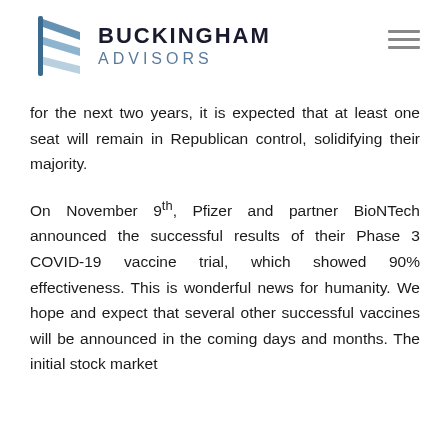[Figure (logo): Buckingham Advisors logo with stylized B chevron icon in blue/grey and company name text]
for the next two years, it is expected that at least one seat will remain in Republican control, solidifying their majority.
On November 9th, Pfizer and partner BioNTech announced the successful results of their Phase 3 COVID-19 vaccine trial, which showed 90% effectiveness. This is wonderful news for humanity. We hope and expect that several other successful vaccines will be announced in the coming days and months. The initial stock market